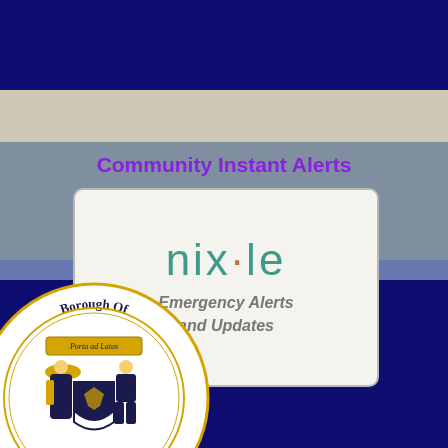Community Instant Alerts
[Figure (logo): Nixle Emergency Alerts and Updates logo in a rounded rectangle box with teal nixle text and orange dot]
[Figure (logo): Borough seal circular emblem with 'Borough Of' text, coat of arms with figures, and 'March 13, 1901' date at bottom]